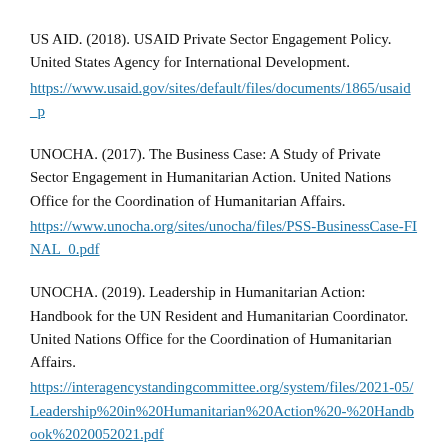US AID. (2018). USAID Private Sector Engagement Policy. United States Agency for International Development. https://www.usaid.gov/sites/default/files/documents/1865/usaid_p
UNOCHA. (2017). The Business Case: A Study of Private Sector Engagement in Humanitarian Action. United Nations Office for the Coordination of Humanitarian Affairs. https://www.unocha.org/sites/unocha/files/PSS-BusinessCase-FINAL_0.pdf
UNOCHA. (2019). Leadership in Humanitarian Action: Handbook for the UN Resident and Humanitarian Coordinator. United Nations Office for the Coordination of Humanitarian Affairs. https://interagencystandingcommittee.org/system/files/2021-05/Leadership%20in%20Humanitarian%20Action%20-%20Handbook%2020052021.pdf